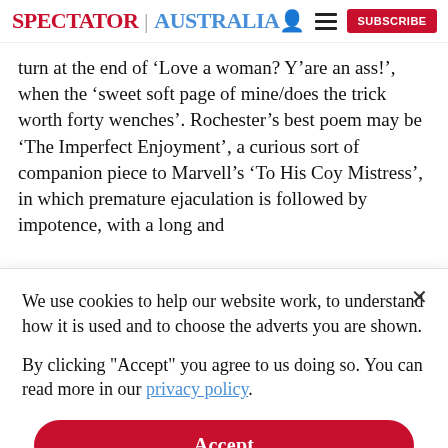SPECTATOR | AUSTRALIA
turn at the end of ‘Love a woman? Y’are an ass!’, when the ‘sweet soft page of mine/does the trick worth forty wenches’. Rochester’s best poem may be ‘The Imperfect Enjoyment’, a curious sort of companion piece to Marvell’s ‘To His Coy Mistress’, in which premature ejaculation is followed by impotence, with a long and
We use cookies to help our website work, to understand how it is used and to choose the adverts you are shown.
By clicking "Accept" you agree to us doing so. You can read more in our privacy policy.